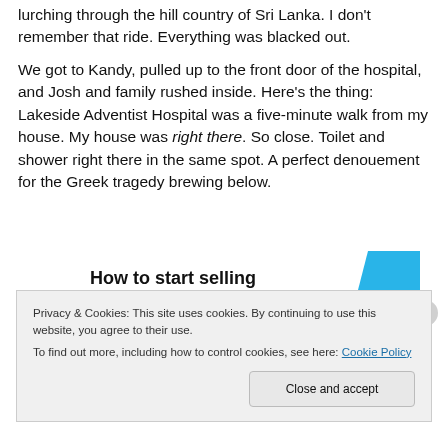lurching through the hill country of Sri Lanka. I don't remember that ride. Everything was blacked out.
We got to Kandy, pulled up to the front door of the hospital, and Josh and family rushed inside. Here's the thing: Lakeside Adventist Hospital was a five-minute walk from my house. My house was right there. So close. Toilet and shower right there in the same spot. A perfect denouement for the Greek tragedy brewing below.
[Figure (infographic): Advertisement banner reading 'How to start selling subscriptions online' with a cyan/blue geometric shape on the right]
Privacy & Cookies: This site uses cookies. By continuing to use this website, you agree to their use.
To find out more, including how to control cookies, see here: Cookie Policy
Close and accept